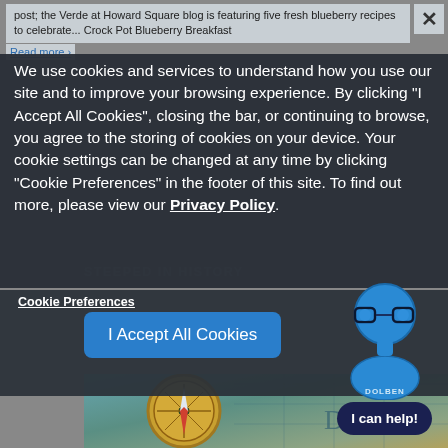post; the Verde at Howard Square blog is featuring five fresh blueberry recipes to celebrate... Crock Pot Blueberry Breakfast
Read more >
We use cookies and services to understand how you use our site and to improve your browsing experience. By clicking "I Accept All Cookies", closing the bar, or continuing to browse, you agree to the storing of cookies on your device. Your cookie settings can be changed at any time by clicking "Cookie Preferences" in the footer of this site. To find out more, please view our Privacy Policy.
STEEPED IN HISTORY
Cookie Preferences
I Accept All Cookies
[Figure (illustration): Dolben chatbot avatar: blue cartoon figure with glasses and body, with text label DOLBEN and speech bubble saying I can help!]
[Figure (photo): Vintage brass compass resting on an antique map, teal and gold tones]